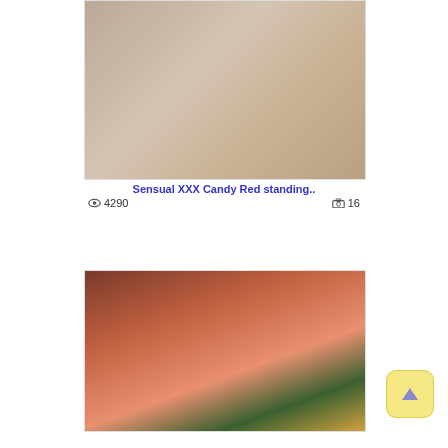[Figure (photo): Thumbnail photo for adult content gallery item 1]
Sensual XXX Candy Red standing..
👁 4290   📷 16
[Figure (photo): Thumbnail photo for adult content gallery item 2]